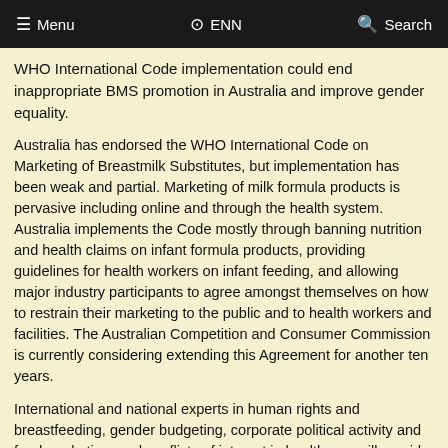Menu  ENN  Search
WHO International Code implementation could end inappropriate BMS promotion in Australia and improve gender equality.
Australia has endorsed the WHO International Code on Marketing of Breastmilk Substitutes, but implementation has been weak and partial. Marketing of milk formula products is pervasive including online and through the health system. Australia implements the Code mostly through banning nutrition and health claims on infant formula products, providing guidelines for health workers on infant feeding, and allowing major industry participants to agree amongst themselves on how to restrain their marketing to the public and to health workers and facilities. The Australian Competition and Consumer Commission is currently considering extending this Agreement for another ten years.
International and national experts in human rights and breastfeeding, gender budgeting, corporate political activity and food marketing, and conflicts of interest in healthcare will provide informed commentary on addressing gender inequality by progressing implementation of the Australian National Breastfeeding Strategy.
Please join us, and please share this invite with others in your networks.
Apologies for cross postings. If you want to be taken off this list